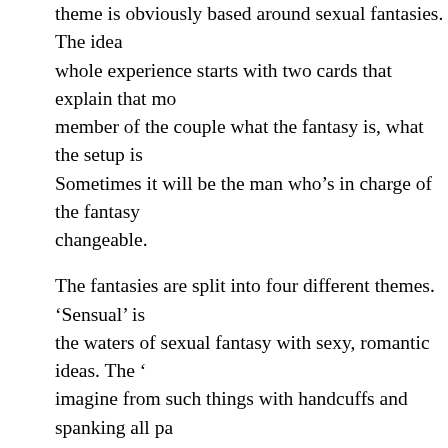theme is obviously based around sexual fantasies. The idea whole experience starts with two cards that explain that mo member of the couple what the fantasy is, what the setup is Sometimes it will be the man who's in charge of the fantasy changeable.
The fantasies are split into four different themes. 'Sensual' is the waters of sexual fantasy with sexy, romantic ideas. The imagine from such things with handcuffs and spanking all pa controlled way this can be incredibly hot. The 'Costume' cate with schoolgirl outfits and maid uniforms likely to be on displ having fun, enjoying each other's company, and loving sex f
You can try each category out before deciding which ones a ask for more of one to be delivered or say you don't want an all. To begin with you'll also be sent a quiz to go through with lines of communication regarding your sexual appetites but a your partner is into. You may learn things you never knew a